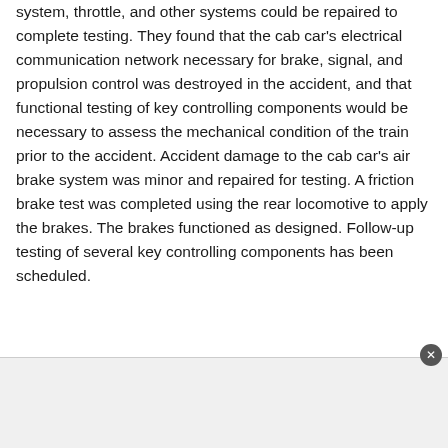system, throttle, and other systems could be repaired to complete testing. They found that the cab car's electrical communication network necessary for brake, signal, and propulsion control was destroyed in the accident, and that functional testing of key controlling components would be necessary to assess the mechanical condition of the train prior to the accident. Accident damage to the cab car's air brake system was minor and repaired for testing. A friction brake test was completed using the rear locomotive to apply the brakes. The brakes functioned as designed. Follow-up testing of several key controlling components has been scheduled.